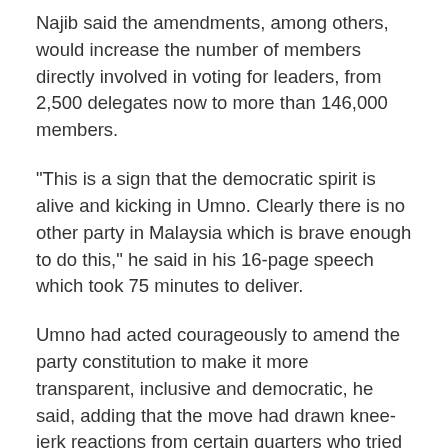Najib said the amendments, among others, would increase the number of members directly involved in voting for leaders, from 2,500 delegates now to more than 146,000 members.
"This is a sign that the democratic spirit is alive and kicking in Umno. Clearly there is no other party in Malaysia which is brave enough to do this," he said in his 16-page speech which took 75 minutes to deliver.
Umno had acted courageously to amend the party constitution to make it more transparent, inclusive and democratic, he said, adding that the move had drawn knee-jerk reactions from certain quarters who tried to copy and change their party constitutions without thorough study.
He said this was their trick and they were making